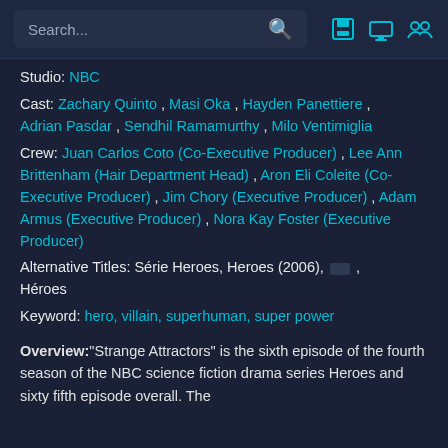Search...
Studio: NBC
Cast: Zachary Quinto , Masi Oka , Hayden Panettiere , Adrian Pasdar , Sendhil Ramamurthy , Milo Ventimiglia
Crew: Juan Carlos Coto (Co-Executive Producer) , Lee Ann Brittenham (Hair Department Head) , Aron Eli Coleite (Co-Executive Producer) , Jim Chory (Executive Producer) , Adam Armus (Executive Producer) , Nora Kay Foster (Executive Producer)
Alternative Titles: Série Heroes, Heroes (2006), [symbol] , Héroes
Keyword: hero, villain, superhuman, super power
Overview:"Strange Attractors" is the sixth episode of the fourth season of the NBC science fiction drama series Heroes and sixty fifth episode overall. The